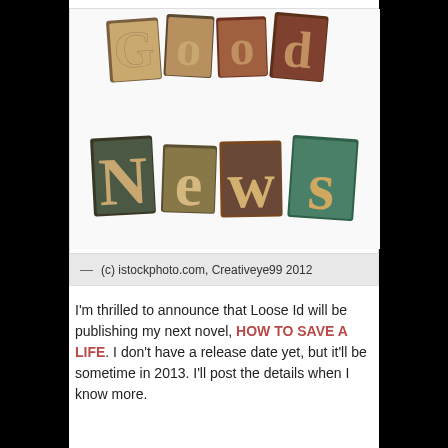[Figure (photo): Letterpress wooden blocks spelling 'Good News' arranged in two rows on a white background]
— (c) istockphoto.com, Creativeye99 2012
I'm thrilled to announce that Loose Id will be publishing my next novel, HOW TO SAVE A LIFE. I don't have a release date yet, but it'll be sometime in 2013. I'll post the details when I know more.